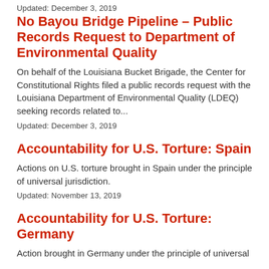Updated: December 3, 2019
No Bayou Bridge Pipeline - Public Records Request to Department of Environmental Quality
On behalf of the Louisiana Bucket Brigade, the Center for Constitutional Rights filed a public records request with the Louisiana Department of Environmental Quality (LDEQ) seeking records related to...
Updated: December 3, 2019
Accountability for U.S. Torture: Spain
Actions on U.S. torture brought in Spain under the principle of universal jurisdiction.
Updated: November 13, 2019
Accountability for U.S. Torture: Germany
Action brought in Germany under the principle of universal